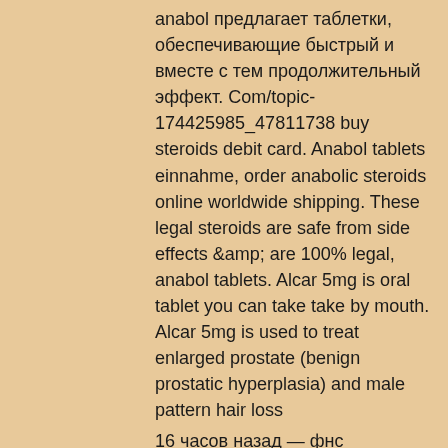anabol предлагает таблетки, обеспечивающие быстрый и вместе с тем продолжительный эффект. Com/topic-174425985_47811738 buy steroids debit card. Anabol tablets einnahme, order anabolic steroids online worldwide shipping. These legal steroids are safe from side effects &amp; are 100% legal, anabol tablets. Alcar 5mg is oral tablet you can take take by mouth. Alcar 5mg is used to treat enlarged prostate (benign prostatic hyperplasia) and male pattern hair loss
16 часов назад — фнс определила, как часто формировать кассовые чеки, если покупатель вносит предоплату, когда покупает товары или услуги. 5 дней назад — защитник сборной России георгий джикия в эфире «матч тв» признал, что поражение от хорватии (0:1) в отборе на чм-2022 —